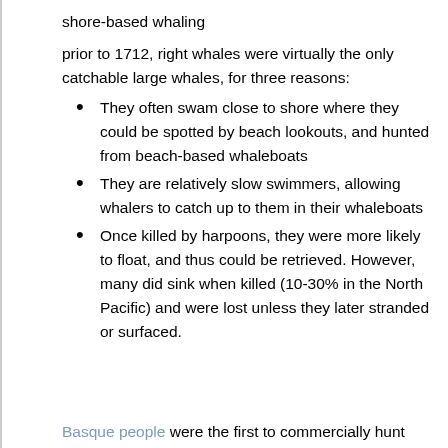shore-based whaling
prior to 1712, right whales were virtually the only catchable large whales, for three reasons:
They often swam close to shore where they could be spotted by beach lookouts, and hunted from beach-based whaleboats
They are relatively slow swimmers, allowing whalers to catch up to them in their whaleboats
Once killed by harpoons, they were more likely to float, and thus could be retrieved. However, many did sink when killed (10-30% in the North Pacific) and were lost unless they later stranded or surfaced.
Basque people were the first to commercially hunt